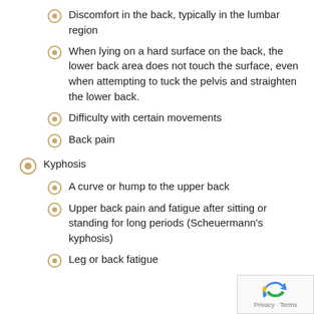Discomfort in the back, typically in the lumbar region
When lying on a hard surface on the back, the lower back area does not touch the surface, even when attempting to tuck the pelvis and straighten the lower back.
Difficulty with certain movements
Back pain
Kyphosis
A curve or hump to the upper back
Upper back pain and fatigue after sitting or standing for long periods (Scheuermann's kyphosis)
Leg or back fatigue